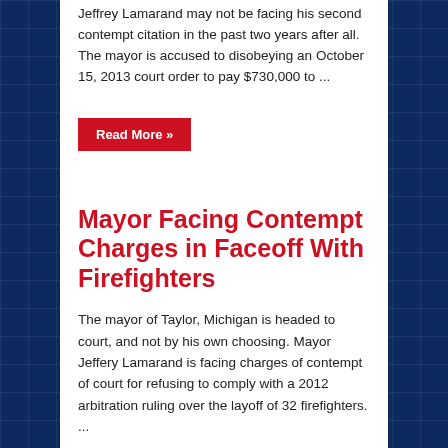Jeffrey Lamarand may not be facing his second contempt citation in the past two years after all. The mayor is accused to disobeying an October 15, 2013 court order to pay $730,000 to ...
Read More »
Mayor Facing Contempt Charges in Faceoff With Firefighters
The mayor of Taylor, Michigan is headed to court, and not by his own choosing. Mayor Jeffery Lamarand is facing charges of contempt of court for refusing to comply with a 2012 arbitration ruling over the layoff of 32 firefighters. ...